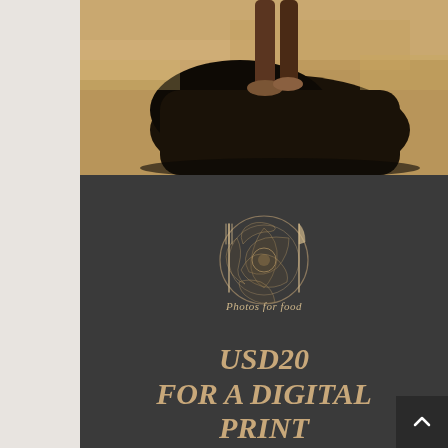[Figure (photo): Top portion shows a close-up photo of a person crouching near a dark horse or animal on sandy ground, taken outdoors in bright sunlight.]
[Figure (logo): Photos for Food logo: a circular camera aperture/lens icon with a fork on the left and knife on the right, and a plate outline ring around it, with the text 'Photos for food' in cursive script below.]
USD20 FOR A DIGITAL PRINT